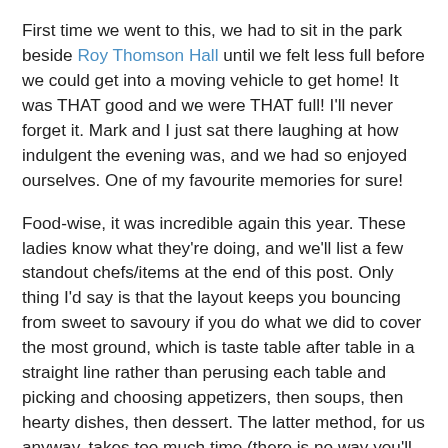First time we went to this, we had to sit in the park beside Roy Thomson Hall until we felt less full before we could get into a moving vehicle to get home! It was THAT good and we were THAT full! I'll never forget it. Mark and I just sat there laughing at how indulgent the evening was, and we had so enjoyed ourselves. One of my favourite memories for sure!
Food-wise, it was incredible again this year. These ladies know what they're doing, and we'll list a few standout chefs/items at the end of this post. Only thing I'd say is that the layout keeps you bouncing from sweet to savoury if you do what we did to cover the most ground, which is taste table after table in a straight line rather than perusing each table and picking and choosing appetizers, then soups, then hearty dishes, then dessert. The latter method, for us anyway, takes too much time (there is no way you'll get around to tasting everything anyway - time nor stomache room will allow it!). Might've been more sensible to the palate to organize them by savoury, sweet, and maybe even have the beverage vendors separate so it's more intuitive as to where you can go to get what. All those suggestions are just that, suggestions, they are still a beloved favourite and...